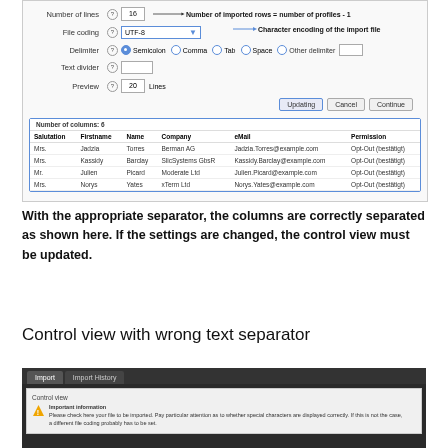[Figure (screenshot): Import settings dialog showing Number of lines: 16, File coding: UTF-8, Delimiter: Semicolon selected, Text divider field, Preview: 20 Lines. Annotations point to 'Number of imported rows = number of profiles - 1' and 'Character encoding of the import file'. Buttons: Updating, Cancel, Continue. Below is a data preview table with columns Salutation, Firstname, Name, Company, eMail, Permission showing 4 data rows.]
With the appropriate separator, the columns are correctly separated as shown here. If the settings are changed, the control view must be updated.
Control view with wrong text separator
[Figure (screenshot): Bottom of page showing Import / Import History tabs, a Control view panel with Important information warning about checking the file to be imported regarding special characters and file coding.]